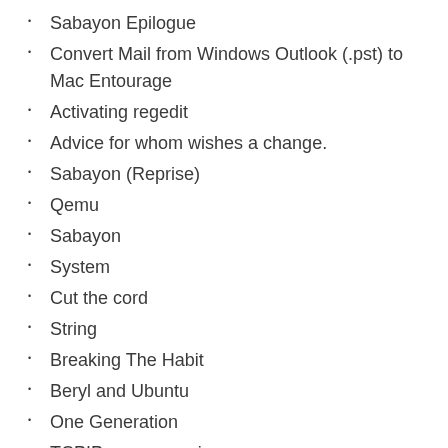Sabayon Epilogue
Convert Mail from Windows Outlook (.pst) to Mac Entourage
Activating regedit
Advice for whom wishes a change.
Sabayon (Reprise)
Qemu
Sabayon
System
Cut the cord
String
Breaking The Habit
Beryl and Ubuntu
One Generation
TCPIP mon removing
Tales of Incubus
Travel Advice
Gadget